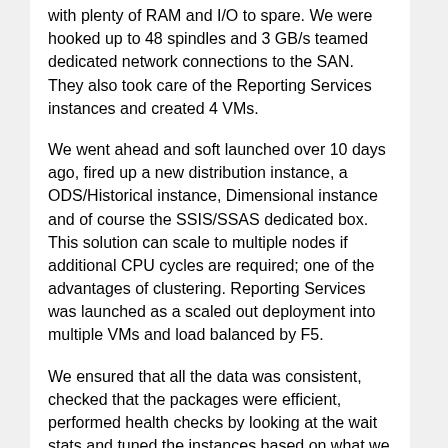with plenty of RAM and I/O to spare. We were hooked up to 48 spindles and 3 GB/s teamed dedicated network connections to the SAN. They also took care of the Reporting Services instances and created 4 VMs.
We went ahead and soft launched over 10 days ago, fired up a new distribution instance, a ODS/Historical instance, Dimensional instance and of course the SSIS/SSAS dedicated box. This solution can scale to multiple nodes if additional CPU cycles are required; one of the advantages of clustering. Reporting Services was launched as a scaled out deployment into multiple VMs and load balanced by F5.
We ensured that all the data was consistent, checked that the packages were efficient, performed health checks by looking at the wait stats and tuned the instances based on what we found.
Two days ago, we presented the solution to the business owners, with multiple sample reports generated by SSMS, Regular Pivot Tables and